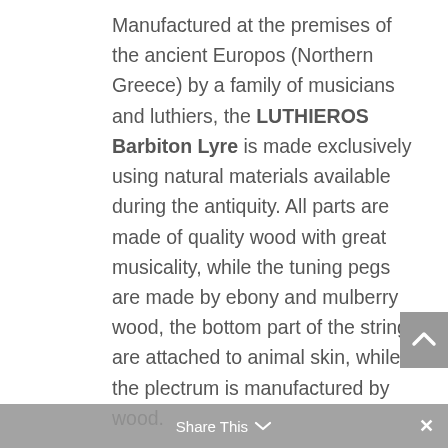Manufactured at the premises of the ancient Europos (Northern Greece) by a family of musicians and luthiers, the LUTHIEROS Barbiton Lyre is made exclusively using natural materials available during the antiquity. All parts are made of quality wood with great musicality, while the tuning pegs are made by ebony and mulberry wood, the bottom part of the strings are attached to animal skin, while the plectrum is manufactured by wood.
This ancient artifact was evolved to become a modern musical instrument ready to be used by both amateur and professional musicians. For all the minor (but very important) alterations, top-notch technologies were used during the